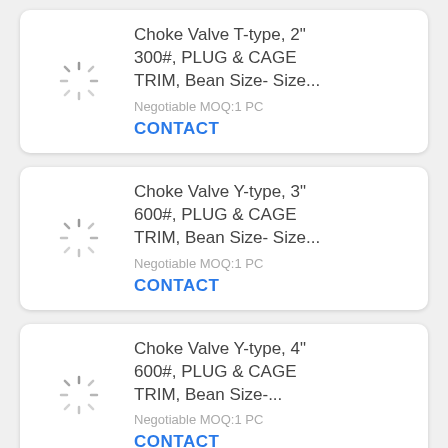[Figure (other): Loading spinner icon (product image placeholder)]
Choke Valve T-type, 2" 300#, PLUG & CAGE TRIM, Bean Size- Size...
Negotiable MOQ:1 PC
CONTACT
[Figure (other): Loading spinner icon (product image placeholder)]
Choke Valve Y-type, 3" 600#, PLUG & CAGE TRIM, Bean Size- Size...
Negotiable MOQ:1 PC
CONTACT
[Figure (other): Loading spinner icon (product image placeholder)]
Choke Valve Y-type, 4" 600#, PLUG & CAGE TRIM, Bean Size-...
Negotiable MOQ:1 PC
CONTACT